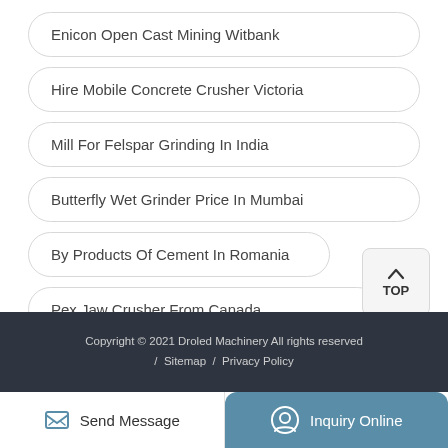Enicon Open Cast Mining Witbank
Hire Mobile Concrete Crusher Victoria
Mill For Felspar Grinding In India
Butterfly Wet Grinder Price In Mumbai
By Products Of Cement In Romania
Pex Jaw Crusher From Canada
Copyright © 2021 Droled Machinery All rights reserved / Sitemap / Privacy Policy
Send Message | Inquiry Online